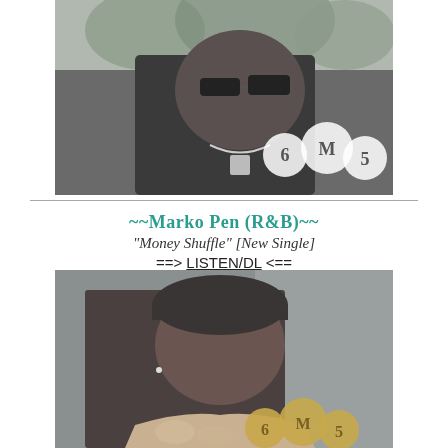[Figure (photo): Black and white photo of a young man wearing sunglasses and a chain necklace, with a circular logo reading '6MF' overlaid on the lower right]
~~Marko Pen (R&B)~~
"Money Shuffle" [New Single]
==> LISTEN/DL <==
[Figure (photo): Color-tinted photo of a young man wearing a beanie hat and fur-lined jacket, looking up at camera, with a gold circular '6MF' logo in lower right]